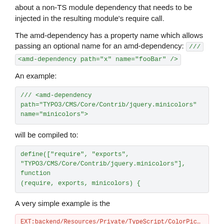about a non-TS module dependency that needs to be injected in the resulting module's require call.
The amd-dependency has a property name which allows passing an optional name for an amd-dependency: /// <amd-dependency path="x" name="fooBar" />
An example:
/// <amd-dependency path="TYPO3/CMS/Core/Contrib/jquery.minicolors" name="minicolors">
will be compiled to:
define(["require", "exports", "TYPO3/CMS/Core/Contrib/jquery.minicolors"], function (require, exports, minicolors) {
A very simple example is the
EXT:backend/Resources/Private/TypeScript/ColorPicker.ts